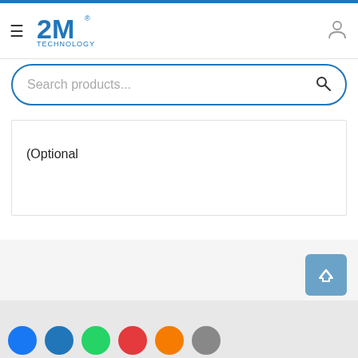[Figure (screenshot): 2M Technology website header with hamburger menu, logo, and user icon]
Search products...
(Optional
[Figure (other): Back to top button (blue square with upward chevron)]
[Figure (other): Chat bubble icon (dark blue circle)]
Social media icon links row at bottom